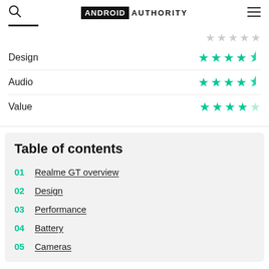ANDROID AUTHORITY
| Category | Rating |
| --- | --- |
| Design | 4.5/5 stars |
| Audio | 4.5/5 stars |
| Value | 4/5 stars |
Table of contents
01 Realme GT overview
02 Design
03 Performance
04 Battery
05 Cameras